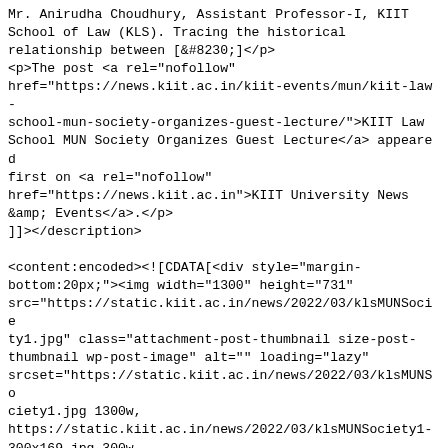Mr. Anirudha Choudhury, Assistant Professor-I, KIIT School of Law (KLS). Tracing the historical relationship between [&#8230;]</p>
<p>The post <a rel="nofollow" href="https://news.kiit.ac.in/kiit-events/mun/kiit-law-school-mun-society-organizes-guest-lecture/">KIIT Law School MUN Society Organizes Guest Lecture</a> appeared first on <a rel="nofollow" href="https://news.kiit.ac.in">KIIT University News &amp; Events</a>.</p>
]]></description>

<content:encoded><![CDATA[<div style="margin-bottom:20px;"><img width="1300" height="731" src="https://static.kiit.ac.in/news/2022/03/klsMUNSociety1.jpg" class="attachment-post-thumbnail size-post-thumbnail wp-post-image" alt="" loading="lazy" srcset="https://static.kiit.ac.in/news/2022/03/klsMUNSociety1.jpg 1300w,
https://static.kiit.ac.in/news/2022/03/klsMUNSociety1-300x169.jpg 300w,
https://static.kiit.ac.in/news/2022/03/klsMUNSociety1-1024x576.jpg 1024w,
https://static.kiit.ac.in/news/2022/03/klsMUNSociety1-768x432.jpg 768w" sizes="(max-width: 1300px) 100vw, 1300px" /></div>
<p>The KIIT Law School MUN Society organized a Guest Lecture by Lieutenant General Satinder Singh Saini, as part of the inauguration ceremony of the National Crisis Committee MUN Competition, on